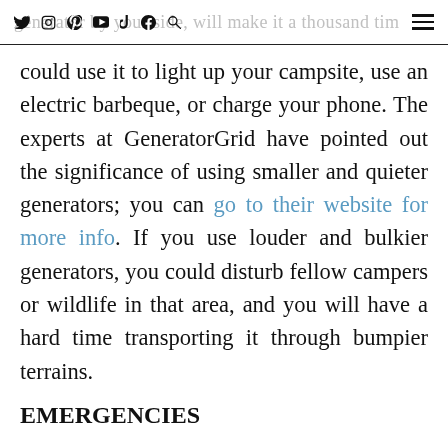generator by your side, will make it a thousand times more comfortable, you [social icons: twitter, instagram, pinterest, youtube, tiktok, facebook, search] [hamburger menu]
could use it to light up your campsite, use an electric barbeque, or charge your phone. The experts at GeneratorGrid have pointed out the significance of using smaller and quieter generators; you can go to their website for more info. If you use louder and bulkier generators, you could disturb fellow campers or wildlife in that area, and you will have a hard time transporting it through bumpier terrains.
EMERGENCIES